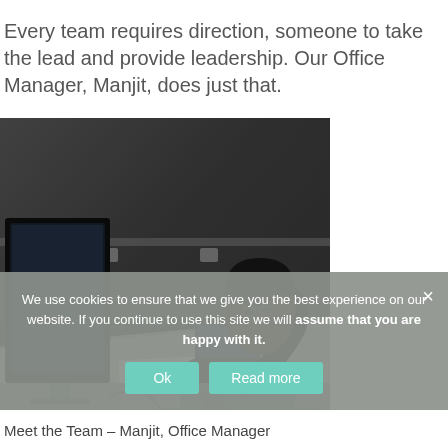Every team requires direction, someone to take the lead and provide leadership. Our Office Manager, Manjit, does just that.
[Figure (photo): Office photo of Manjit, Office Manager, sitting at a desk with monitors, keyboard, and papers, talking on a phone in a dimly lit office setting.]
We use cookies to ensure that we give you the best experience on our website. If you continue to use this site we will assume that you are happy with it.
Meet the Team – Manjit, Office Manager